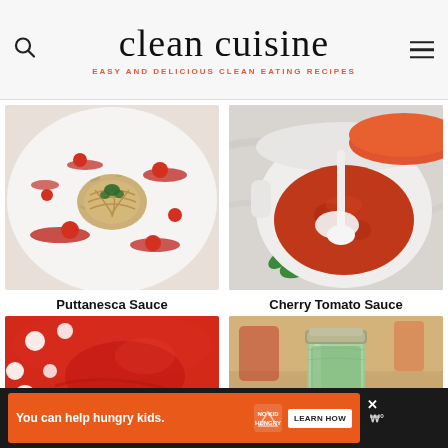clean cuisine — EASY AND DELICIOUS CLEAN EATING RECIPES
[Figure (photo): Overhead view of spaghetti nest with cherry tomatoes and herb sauce on a white plate]
Puttanesca Sauce
[Figure (photo): Overhead view of a white pot with tomato sauce being stirred with a spoon, orange lid visible, basil leaves on marble surface]
Cherry Tomato Sauce
[Figure (photo): Close-up of red sauce in a red-spotted bowl]
[Figure (photo): Mason jar with green liquid/sauce on a kitchen counter]
You can help hungry kids. NO KID HUNGRY LEARN HOW